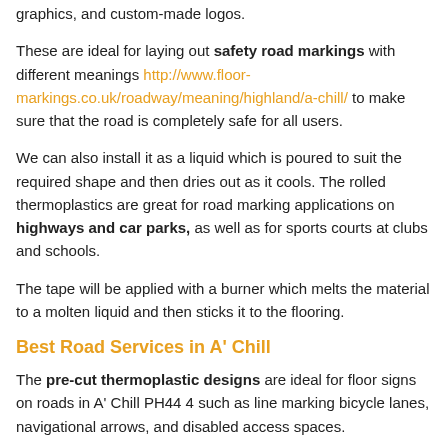graphics, and custom-made logos.
These are ideal for laying out safety road markings with different meanings http://www.floor-markings.co.uk/roadway/meaning/highland/a-chill/ to make sure that the road is completely safe for all users.
We can also install it as a liquid which is poured to suit the required shape and then dries out as it cools. The rolled thermoplastics are great for road marking applications on highways and car parks, as well as for sports courts at clubs and schools.
The tape will be applied with a burner which melts the material to a molten liquid and then sticks it to the flooring.
Best Road Services in A' Chill
The pre-cut thermoplastic designs are ideal for floor signs on roads in A' Chill PH44 4 such as line marking bicycle lanes, navigational arrows, and disabled access spaces.
These sorts of shapes are often added to car park surfaces, and this is another location which we can work in - http://www.floor-